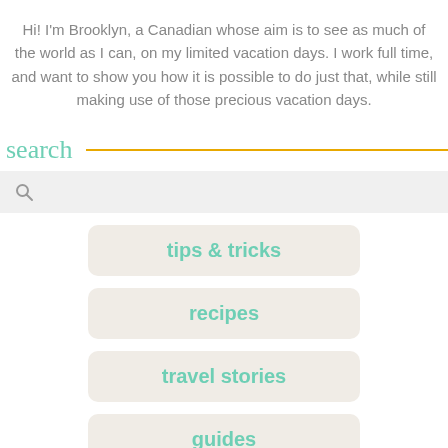Hi! I'm Brooklyn, a Canadian whose aim is to see as much of the world as I can, on my limited vacation days. I work full time, and want to show you how it is possible to do just that, while still making use of those precious vacation days.
search
tips & tricks
recipes
travel stories
guides